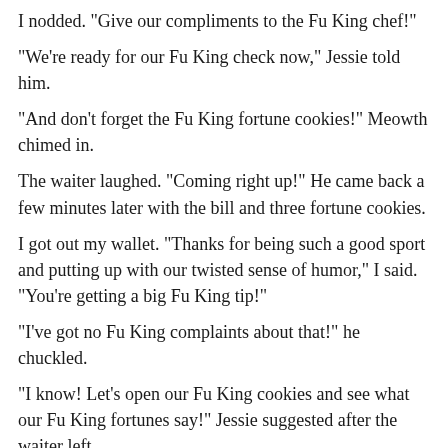I nodded. "Give our compliments to the Fu King chef!"
"We're ready for our Fu King check now," Jessie told him.
"And don't forget the Fu King fortune cookies!" Meowth chimed in.
The waiter laughed. "Coming right up!" He came back a few minutes later with the bill and three fortune cookies.
I got out my wallet. "Thanks for being such a good sport and putting up with our twisted sense of humor," I said. "You're getting a big Fu King tip!"
"I've got no Fu King complaints about that!" he chuckled.
"I know! Let's open our Fu King cookies and see what our Fu King fortunes say!" Jessie suggested after the waiter left.
"Now dat's a Fu King great idea!" Meowth replied.
With that, the three of us cracked open our cookies and pulled out the fortunes.
"That which seems bad now is really for the best," Jessie said,